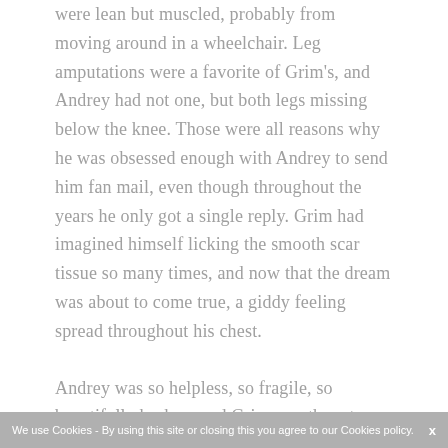were lean but muscled, probably from moving around in a wheelchair. Leg amputations were a favorite of Grim's, and Andrey had not one, but both legs missing below the knee. Those were all reasons why he was obsessed enough with Andrey to send him fan mail, even though throughout the years he only got a single reply. Grim had imagined himself licking the smooth scar tissue so many times, and now that the dream was about to come true, a giddy feeling spread throughout his chest.
Andrey was so helpless, so fragile, so beautifully broken, and Grim was there to take care of everything for him. Andrey would fall for him in a heartbeat and become Grim's only. Even now, Grim could
We use Cookies - By using this site or closing this you agree to our Cookies policy.